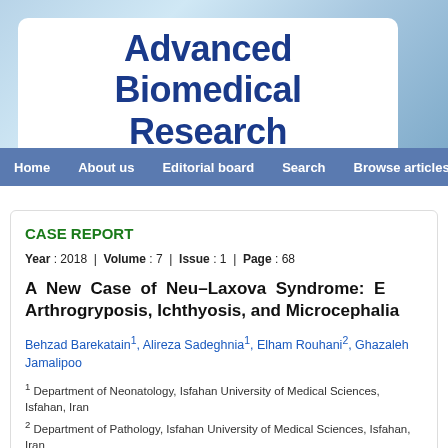[Figure (logo): Advanced Biomedical Research journal header with blue gradient background and white rounded box containing journal title]
Home | About us | Editorial board | Search | Browse articles
CASE REPORT
Year : 2018 | Volume : 7 | Issue : 1 | Page : 68
A New Case of Neu–Laxova Syndrome: Arthrogryposis, Ichthyosis, and Microcephalia
Behzad Barekatain1, Alireza Sadeghnia1, Elham Rouhani2, Ghazaleh Jamalipoo
1 Department of Neonatology, Isfahan University of Medical Sciences, Isfahan, Iran
2 Department of Pathology, Isfahan University of Medical Sciences, Isfahan, Iran
3 Department of Radiology, Isfahan University of Medical Sciences, Isfahan, Iran